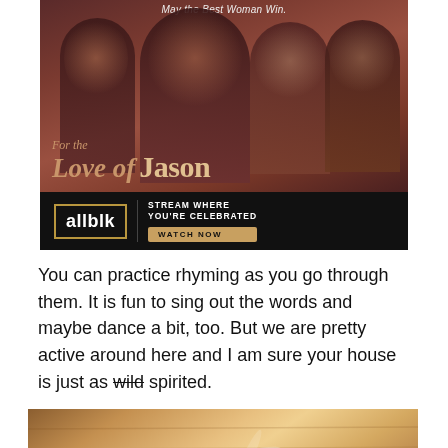[Figure (photo): Advertisement banner for 'For the Love of Jason' on ALLBLK streaming service. Shows four people (one woman, three men) on a warm brownish-red background. Text reads 'May the Best Woman Win.' at top. Movie title 'For the Love of Jason' displayed in decorative script at bottom left. Black bar below with ALLBLK logo, 'STREAM WHERE YOU'RE CELEBRATED', and 'WATCH NOW' button.]
You can practice rhyming as you go through them. It is fun to sing out the words and maybe dance a bit, too. But we are pretty active around here and I am sure your house is just as wild spirited.
[Figure (photo): Partial photo at bottom showing wooden surface (table or floor) with what appears to be craft or cooking items.]